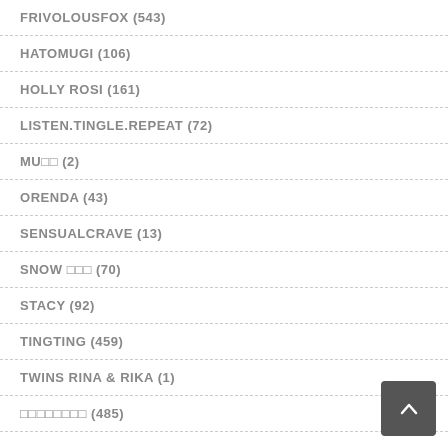FRIVOLOUSFOX (543)
HATOMUGI (106)
HOLLY ROSI (161)
LISTEN.TINGLE.REPEAT (72)
MU□□ (2)
ORENDA (43)
SENSUALCRAVE (13)
SNOW □□□ (70)
STACY (92)
TINGTING (459)
TWINS RINA & RIKA (1)
□□□□□□□□ (485)